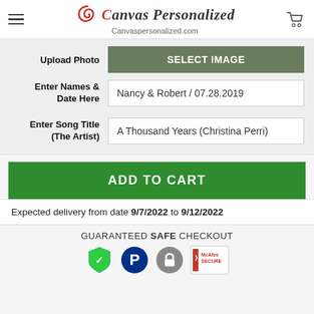Canvas Personalized | Canvaspersonalized.com
Upload Photo | SELECT IMAGE
Enter Names & Date Here | Nancy & Robert / 07.28.2019
Enter Song Title (The Artist) | A Thousand Years (Christina Perri)
ADD TO CART
Expected delivery from date 9/7/2022 to 9/12/2022
GUARANTEED SAFE CHECKOUT